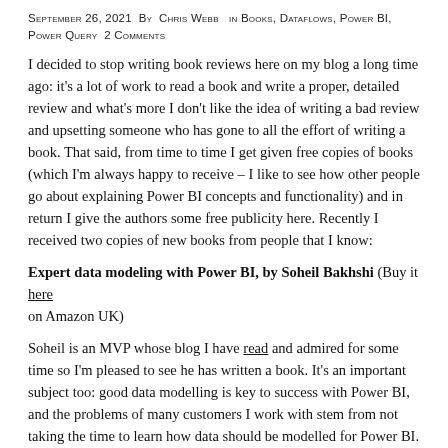September 26, 2021 By Chris Webb in Books, Dataflows, Power BI, Power Query 2 Comments
I decided to stop writing book reviews here on my blog a long time ago: it's a lot of work to read a book and write a proper, detailed review and what's more I don't like the idea of writing a bad review and upsetting someone who has gone to all the effort of writing a book. That said, from time to time I get given free copies of books (which I'm always happy to receive – I like to see how other people go about explaining Power BI concepts and functionality) and in return I give the authors some free publicity here. Recently I received two copies of new books from people that I know:
Expert data modeling with Power BI, by Soheil Bakhshi (Buy it here on Amazon UK)
Soheil is an MVP whose blog I have read and admired for some time so I'm pleased to see he has written a book. It's an important subject too: good data modelling is key to success with Power BI, and the problems of many customers I work with stem from not taking the time to learn how data should be modelled for Power BI. This book introduces you to concepts like dimensional modelling and star schemas and shows you